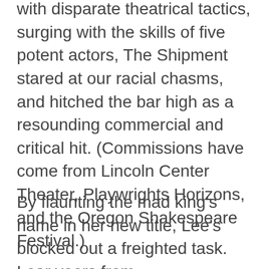with disparate theatrical tactics, surging with the skills of five potent actors, The Shipment stared at our racial chasms, and hitched the bar high as a resounding commercial and critical hit. (Commissions have come from Lincoln Center Theater, Playwrights Horizons, and the Oregon Shakespeare Festival.)
By flaunting the mad king's name in her new title, Lee's blocked out a freighted task. Lear veers from